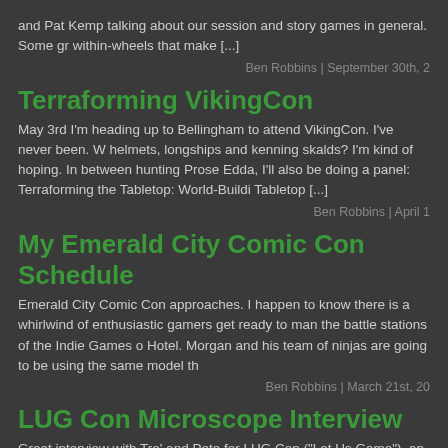and Pat Kemp talking about our session and story games in general. Some gr within-wheels that make [...]
Ben Robbins | September 30th, 2
Terraforming VikingCon
May 3rd I'm heading up to Bellingham to attend VikingCon. I've never been. W helmets, longships and kenning skalds? I'm kind of hoping. In between hunting Prose Edda, I'll also be doing a panel: Terraforming the Tabletop: World-Buildi Tabletop [...]
Ben Robbins | April 1
My Emerald City Comic Con Schedule
Emerald City Comic Con approaches. I happen to know there is a whirlwind of enthusiastic gamers get ready to man the battle stations of the Indie Games o Hotel. Morgan and his team of ninjas are going to be using the same model th
Ben Robbins | March 21st, 20
LUG Con Microscope Interview
Great interview with Tre' and Pete for LUG Con ("Let Us Game"), an online ga back in August, but it just went online. We were supposed to talk for 30 minute slipped by and then the sun came up. Tre' also hosted a [...]
Ben Robbins | September 22nd, 2013 |